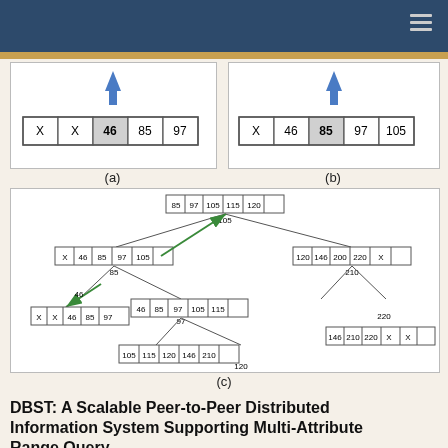[Figure (engineering-diagram): Diagram (a): Array with arrow pointing down to cells X, X, 46 (highlighted), 85, 97]
(a)
[Figure (engineering-diagram): Diagram (b): Array with arrow pointing down to cells X, 46, 85 (highlighted), 97, 105]
(b)
[Figure (engineering-diagram): Diagram (c): B-tree structure showing node insertions with green arrows indicating node splits. Root: 85|97|105|115|120, leaf nodes and internal nodes connected. Includes node X|X|46|85|97 and various other nodes.]
(c)
DBST: A Scalable Peer-to-Peer Distributed Information System Supporting Multi-Attribute Range Query